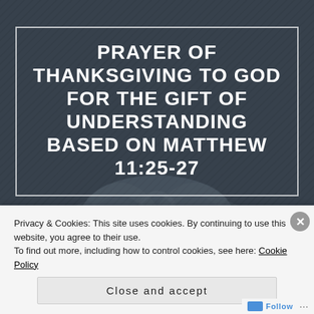[Figure (illustration): Dark grayish-blue background with faint textured overlays suggesting a bird or angel figure in the lower portion of the image.]
PRAYER OF THANKSGIVING TO GOD FOR THE GIFT OF UNDERSTANDING BASED ON MATTHEW 11:25-27
Privacy & Cookies: This site uses cookies. By continuing to use this website, you agree to their use.
To find out more, including how to control cookies, see here: Cookie Policy
Close and accept